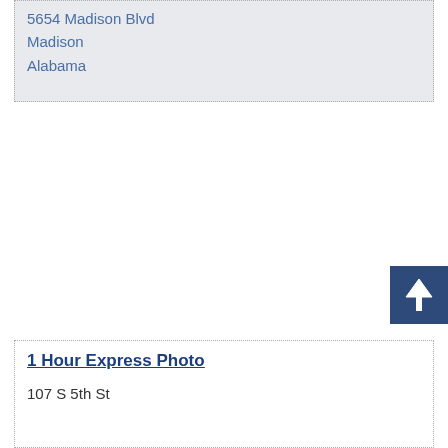5654 Madison Blvd
Madison
Alabama
1 Hour Express Photo
107 S 5th St